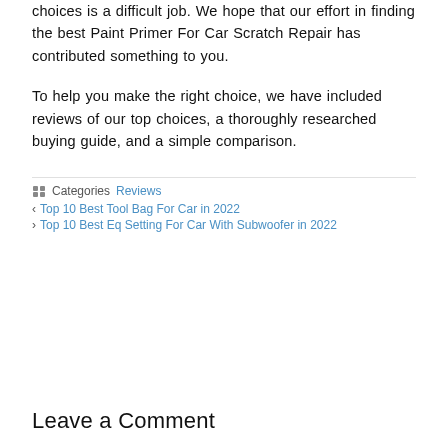choices is a difficult job. We hope that our effort in finding the best Paint Primer For Car Scratch Repair has contributed something to you.
To help you make the right choice, we have included reviews of our top choices, a thoroughly researched buying guide, and a simple comparison.
Categories: Reviews
< Top 10 Best Tool Bag For Car in 2022
> Top 10 Best Eq Setting For Car With Subwoofer in 2022
Leave a Comment